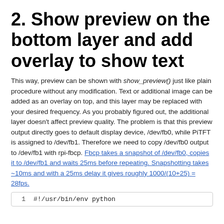2. Show preview on the bottom layer and add overlay to show text
This way, preview can be shown with show_preview() just like plain procedure without any modification. Text or additional image can be added as an overlay on top, and this layer may be replaced with your desired frequency. As you probably figured out, the additional layer doesn't affect preview quality. The problem is that this preview output directly goes to default display device, /dev/fb0, while PiTFT is assigned to /dev/fb1. Therefore we need to copy /dev/fb0 output to /dev/fb1 with rpi-fbcp. Fbcp takes a snapshot of /dev/fb0, copies it to /dev/fb1 and waits 25ms before repeating. Snapshotting takes ~10ms and with a 25ms delay it gives roughly 1000/(10+25) = 28fps.
1   #!/usr/bin/env python